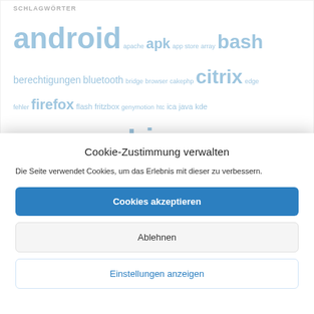SCHLAGWÖRTER
android apache apk app store array bash berechtigungen bluetooth bridge browser cakephp citrix edge fehler firefox flash fritzbox genymotion htc ica java kde keyboard konvertieren Linux lxc mac mehrfach
Cookie-Zustimmung verwalten
Die Seite verwendet Cookies, um das Erlebnis mit dieser zu verbessern.
Cookies akzeptieren
Ablehnen
Einstellungen anzeigen